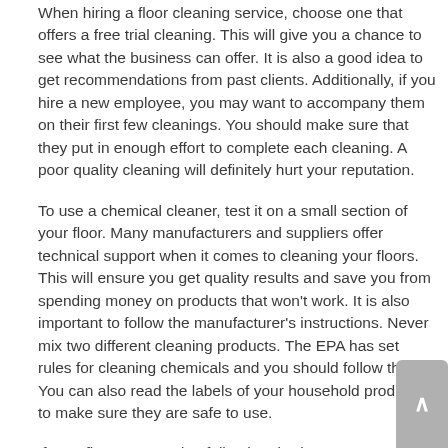When hiring a floor cleaning service, choose one that offers a free trial cleaning. This will give you a chance to see what the business can offer. It is also a good idea to get recommendations from past clients. Additionally, if you hire a new employee, you may want to accompany them on their first few cleanings. You should make sure that they put in enough effort to complete each cleaning. A poor quality cleaning will definitely hurt your reputation.
To use a chemical cleaner, test it on a small section of your floor. Many manufacturers and suppliers offer technical support when it comes to cleaning your floors. This will ensure you get quality results and save you from spending money on products that won't work. It is also important to follow the manufacturer's instructions. Never mix two different cleaning products. The EPA has set rules for cleaning chemicals and you should follow them. You can also read the labels of your household products to make sure they are safe to use.
If your floors are made of tile, then it's important to use the right kind of mop to clean them. The old-fashioned string, strip, and sponge mops are not a good option for the job. Swiffer Wet Jet is a great choice for daily cleaning and